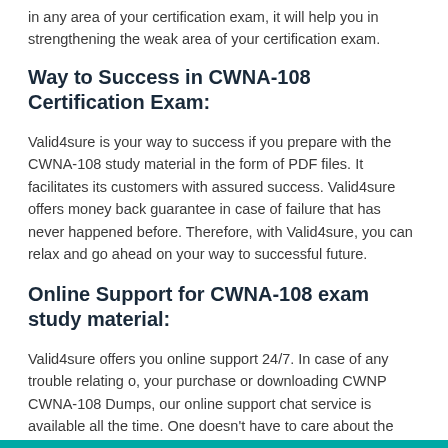in any area of your certification exam, it will help you in strengthening the weak area of your certification exam.
Way to Success in CWNA-108 Certification Exam:
Valid4sure is your way to success if you prepare with the CWNA-108 study material in the form of PDF files. It facilitates its customers with assured success. Valid4sure offers money back guarantee in case of failure that has never happened before. Therefore, with Valid4sure, you can relax and go ahead on your way to successful future.
Online Support for CWNA-108 exam study material:
Valid4sure offers you online support 24/7. In case of any trouble relating o, your purchase or downloading CWNP CWNA-108 Dumps, our online support chat service is available all the time. One doesn't have to care about the time or late responses.